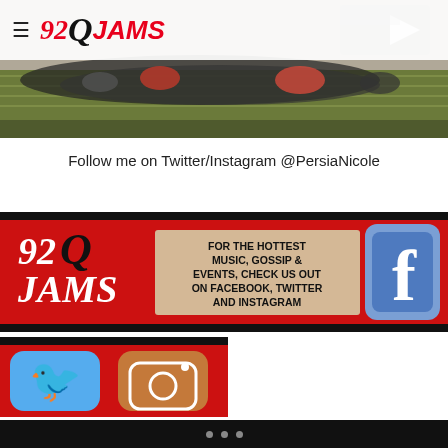92Q JAMS
[Figure (photo): Football game action photo showing players on the field, taken from sideline perspective]
Follow me on Twitter/Instagram @PersiaNicole
[Figure (photo): 92Q Jams promotional banner: red background with 92Q Jams logo on left, text reading FOR THE HOTTEST MUSIC, GOSSIP & EVENTS, CHECK US OUT ON FACEBOOK, TWITTER AND INSTAGRAM, Facebook logo icon on right]
[Figure (photo): Social media icons: Twitter bird icon and Instagram camera icon on red/black background]
• • •